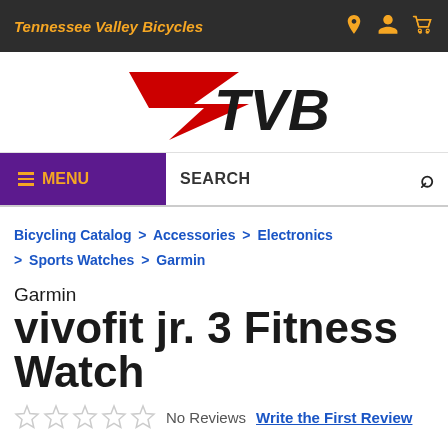Tennessee Valley Bicycles
[Figure (logo): TVB logo — red lightning bolt shape with bold black italic TVB text]
MENU   SEARCH
Bicycling Catalog > Accessories > Electronics > Sports Watches > Garmin
Garmin vivofit jr. 3 Fitness Watch
No Reviews   Write the First Review